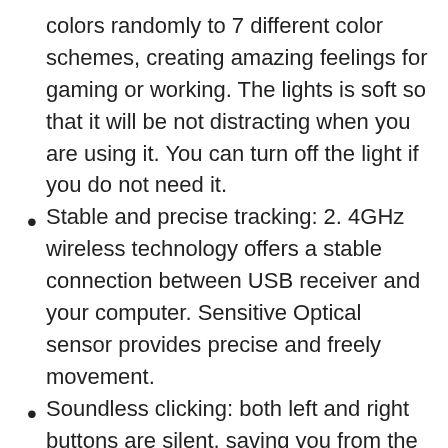colors randomly to 7 different color schemes, creating amazing feelings for gaming or working. The lights is soft so that it will be not distracting when you are using it. You can turn off the light if you do not need it.
Stable and precise tracking: 2. 4GHz wireless technology offers a stable connection between USB receiver and your computer. Sensitive Optical sensor provides precise and freely movement.
Soundless clicking: both left and right buttons are silent, saving you from the sharp clicking noises. You can enjoy your leisure or working time without bothering other people around you.
Friendly environment Battery: built-in 600mAh Lithium rechargeable battery, It can be repeated charging. It comes with a USB port charging cable, and you can use the mouse even when it is recharging. Never afraid that the mouse will run